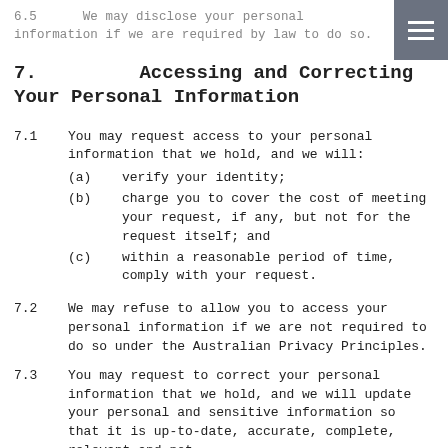6.5    We may disclose your personal information if we are required by law to do so.
7.      Accessing and Correcting Your Personal Information
7.1      You may request access to your personal information that we hold, and we will:
(a)      verify your identity;
(b)      charge you to cover the cost of meeting your request, if any, but not for the request itself; and
(c)      within a reasonable period of time, comply with your request.
7.2      We may refuse to allow you to access your personal information if we are not required to do so under the Australian Privacy Principles.
7.3      You may request to correct your personal information that we hold, and we will update your personal and sensitive information so that it is up-to-date, accurate, complete, relevant and not